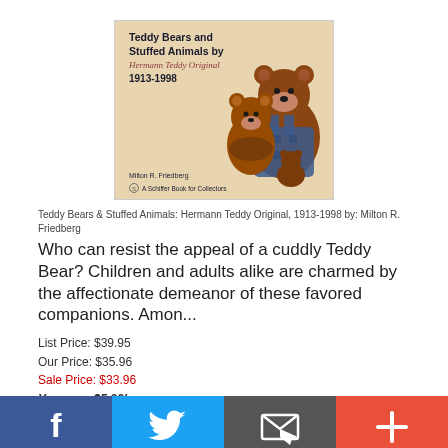[Figure (illustration): Book cover of 'Teddy Bears and Stuffed Animals by Hermann Teddy Original 1913-1998' by Milton R. Friedberg, showing two brown teddy bears on the cover, published as a Schiffer Book for Collectors]
Teddy Bears & Stuffed Animals: Hermann Teddy Original, 1913-1998 by: Milton R. Friedberg
Who can resist the appeal of a cuddly Teddy Bear? Children and adults alike are charmed by the affectionate demeanor of these favored companions. Amon...
List Price: $39.95
Our Price: $35.96
Sale Price: $33.96
You save $5.99!
ADD TO CART